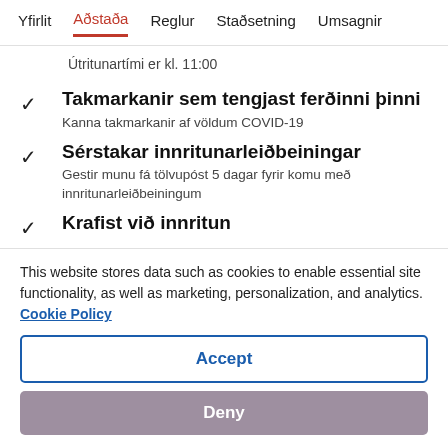Yfirlit  Aðstaða  Reglur  Staðsetning  Umsagnir
Útritunartími er kl. 11:00
Takmarkanir sem tengjast ferðinni þinni
Kanna takmarkanir af völdum COVID-19
Sérstakar innritunarleiðbeiningar
Gestir munu fá tölvupóst 5 dagar fyrir komu með innritunarleiðbeiningum
Krafist við innritun
This website stores data such as cookies to enable essential site functionality, as well as marketing, personalization, and analytics. Cookie Policy
Accept
Deny